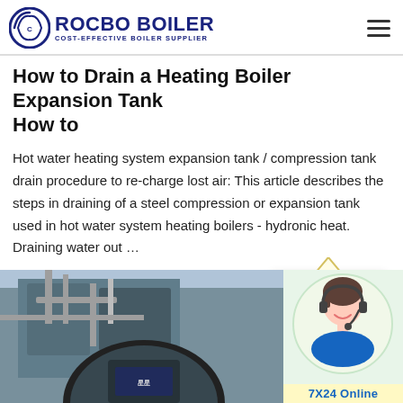ROCBO BOILER — COST-EFFECTIVE BOILER SUPPLIER
How to Drain a Heating Boiler Expansion Tank How to
Hot water heating system expansion tank / compression tank drain procedure to re-charge lost air: This article describes the steps in draining of a steel compression or expansion tank used in hot water system heating boilers - hydronic heat. Draining water out ...
[Figure (other): 10% DISCOUNT badge in yellow with red and teal text]
[Figure (photo): Industrial boiler equipment photograph with pipes and large cylindrical tank]
[Figure (photo): Customer service agent with headset, smiling, with 7X24 Online label]